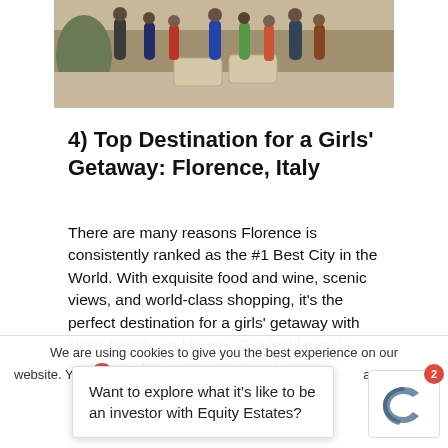[Figure (photo): Group photo of people standing on an outdoor terrace/patio area with cushioned seating]
4) Top Destination for a Girls' Getaway: Florence, Italy
There are many reasons Florence is consistently ranked as the #1 Best City in the World. With exquisite food and wine, scenic views, and world-class shopping, it's the perfect destination for a girls' getaway with close friends and family. Our residence is made up of two separate one-bedroom
We are using cookies to give you the best experience on our website. You can are using by
Want to explore what it's like to be an investor with Equity Estates?